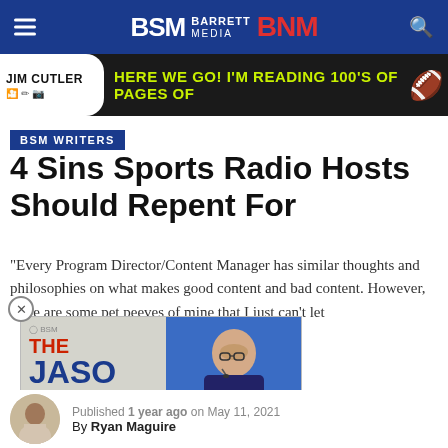BSM Barrett Media BNM
[Figure (infographic): Jim Cutler advertisement banner with text: HERE WE GO! I'M READING 100'S OF PAGES OF [football emoji]]
BSM WRITERS
4 Sins Sports Radio Hosts Should Repent For
"Every Program Director/Content Manager has similar thoughts and philosophies on what makes good content and bad content. However, there are some pet peeves of mine that I just can't let
[Figure (infographic): The Jason Barrett Podcast ad on the left side, and Paul Finebaum photo with caption PAUL FINEBAUM KNOWS THE POWER OF THE LISTENERS on right side.]
Published 1 year ago on May 11, 2021
By Ryan Maguire